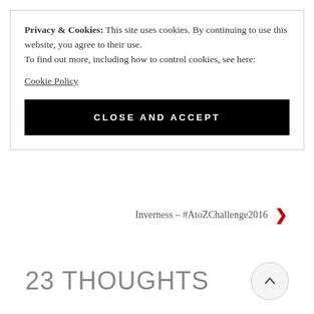Privacy & Cookies: This site uses cookies. By continuing to use this website, you agree to their use.
To find out more, including how to control cookies, see here:
Cookie Policy
CLOSE AND ACCEPT
Inverness – #AtoZChallenge2016
23 THOUGHTS